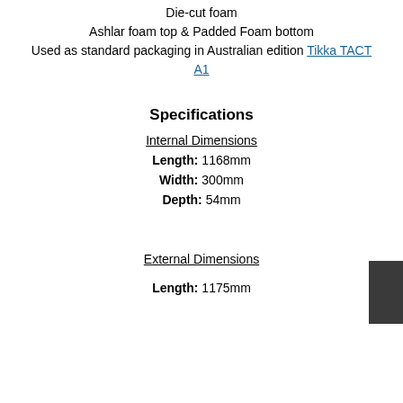Die-cut foam
Ashlar foam top & Padded Foam bottom
Used as standard packaging in Australian edition Tikka TACT A1
Specifications
Internal Dimensions
Length: 1168mm
Width: 300mm
Depth: 54mm
External Dimensions
Length: 1175mm